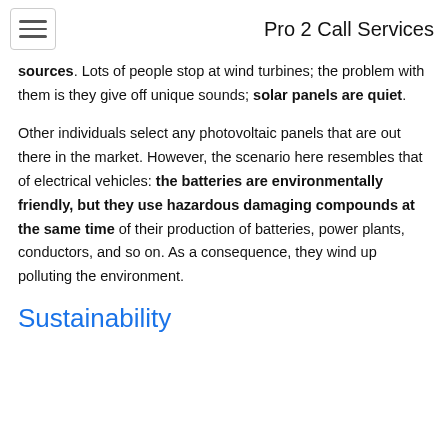Pro 2 Call Services
sources. Lots of people stop at wind turbines; the problem with them is they give off unique sounds; solar panels are quiet.
Other individuals select any photovoltaic panels that are out there in the market. However, the scenario here resembles that of electrical vehicles: the batteries are environmentally friendly, but they use hazardous damaging compounds at the same time of their production of batteries, power plants, conductors, and so on. As a consequence, they wind up polluting the environment.
Sustainability